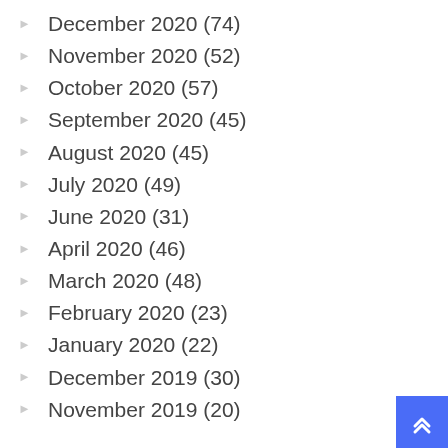December 2020 (74)
November 2020 (52)
October 2020 (57)
September 2020 (45)
August 2020 (45)
July 2020 (49)
June 2020 (31)
April 2020 (46)
March 2020 (48)
February 2020 (23)
January 2020 (22)
December 2019 (30)
November 2019 (20)